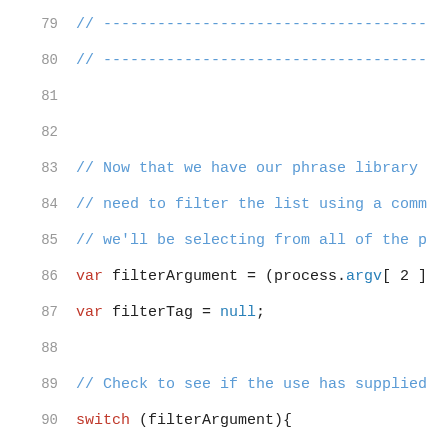79  // -----------------------------------
80  // -----------------------------------
81
82
83  // Now that we have our phrase library
84  // need to filter the list using a comm
85  // we'll be selecting from all of the p
86  var filterArgument = (process.argv[ 2 ]
87  var filterTag = null;
88
89  // Check to see if the use has supplied
90  switch (filterArgument){
91
92      case "";
93
94          filterTag = null;
95